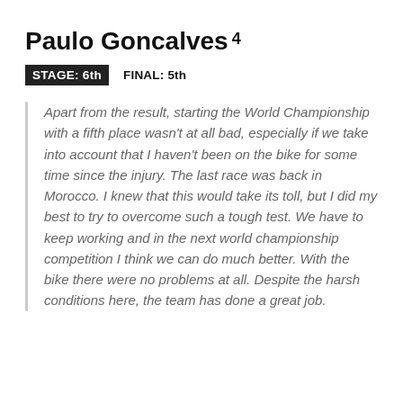Paulo Goncalves 4
STAGE: 6th    FINAL: 5th
Apart from the result, starting the World Championship with a fifth place wasn’t at all bad, especially if we take into account that I haven’t been on the bike for some time since the injury. The last race was back in Morocco. I knew that this would take its toll, but I did my best to try to overcome such a tough test. We have to keep working and in the next world championship competition I think we can do much better. With the bike there were no problems at all. Despite the harsh conditions here, the team has done a great job.